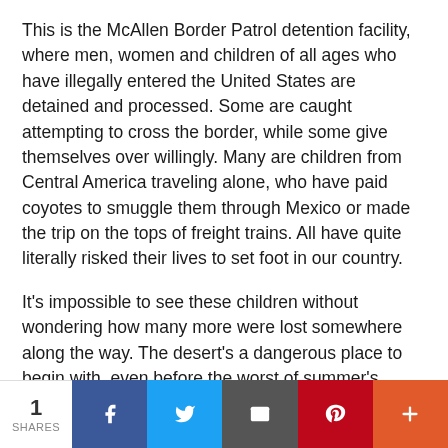This is the McAllen Border Patrol detention facility, where men, women and children of all ages who have illegally entered the United States are detained and processed. Some are caught attempting to cross the border, while some give themselves over willingly. Many are children from Central America traveling alone, who have paid coyotes to smuggle them through Mexico or made the trip on the tops of freight trains. All have quite literally risked their lives to set foot in our country.
It's impossible to see these children without wondering how many more were lost somewhere along the way. The desert's a dangerous place to begin with, even before the worst of summer's brutal heat arrives, and the border is trafficked by
1 SHARES | Facebook | Twitter | Email | Pinterest | More